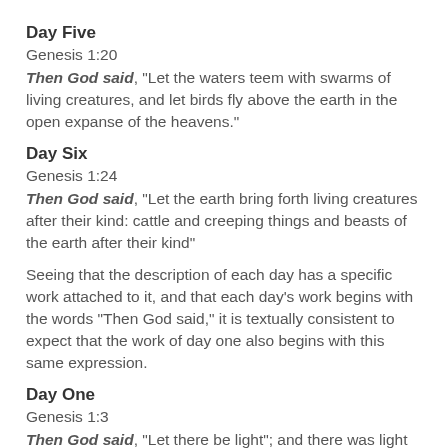Day Five
Genesis 1:20
Then God said, "Let the waters teem with swarms of living creatures, and let birds fly above the earth in the open expanse of the heavens."
Day Six
Genesis 1:24
Then God said, "Let the earth bring forth living creatures after their kind: cattle and creeping things and beasts of the earth after their kind"
Seeing that the description of each day has a specific work attached to it, and that each day’s work begins with the words “Then God said,” it is textually consistent to expect that the work of day one also begins with this same expression.
Day One
Genesis 1:3
Then God said, "Let there be light"; and there was light